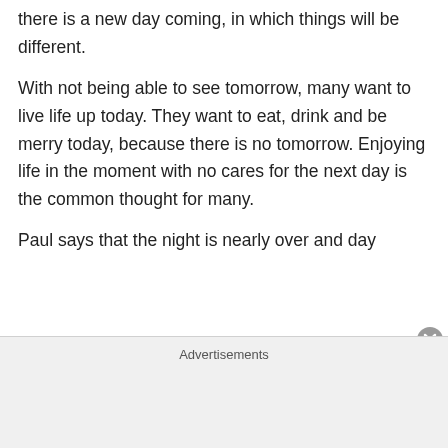there is a new day coming, in which things will be different.
With not being able to see tomorrow, many want to live life up today. They want to eat, drink and be merry today, because there is no tomorrow. Enjoying life in the moment with no cares for the next day is the common thought for many.
Paul says that the night is nearly over and day
Advertisements